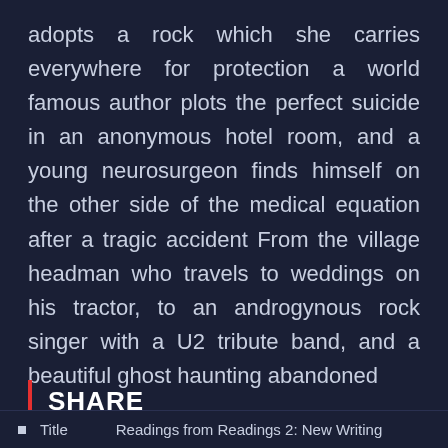adopts a rock which she carries everywhere for protection a world famous author plots the perfect suicide in an anonymous hotel room, and a young neurosurgeon finds himself on the other side of the medical equation after a tragic accident From the village headman who travels to weddings on his tractor, to an androgynous rock singer with a U2 tribute band, and a beautiful ghost haunting abandoned
SHARE
Facebook Pinterest Linkedin Twitter
Title    Readings from Readings 2: New Writing